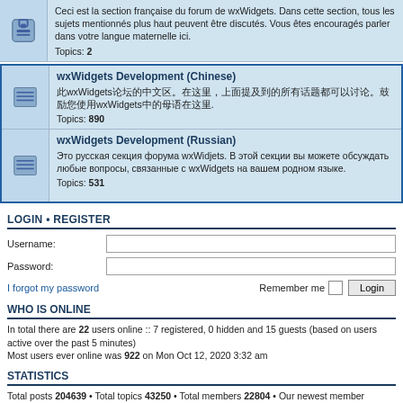Ceci est la section française du forum de wxWidgets. Dans cette section, tous les sujets mentionnés plus haut peuvent être discutés. Vous êtes encouragés parler dans votre langue maternelle ici. Topics: 2
wxWidgets Development (Chinese)
此wxWidgets论坛的中文区。在这里，上面提及到的所有话题都可以讨论。鼓励您使用wxWidgets中的母语在这里.  Topics: 890
wxWidgets Development (Russian)
Это русская секция форума wxWidjets. В этой секции вы можете обсуждать любые вопросы, связанные с wxWidgets на вашем родном языке. Topics: 531
LOGIN • REGISTER
Username:
Password:
I forgot my password
Remember me
WHO IS ONLINE
In total there are 22 users online :: 7 registered, 0 hidden and 15 guests (based on users active over the past 5 minutes)
Most users ever online was 922 on Mon Oct 12, 2020 3:32 am
STATISTICS
Total posts 204639 • Total topics 43250 • Total members 22804 • Our newest member sommi